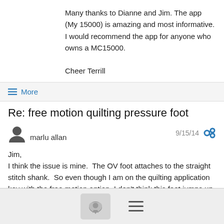Many thanks to Dianne and Jim. The app (My 15000) is amazing and most informative.
I would recommend the app for anyone who owns a MC15000.

Cheer Terrill
≡ More
Re: free motion quilting pressure foot
marlu allan  9/15/14
Jim,
I think the issue is mine.  The OV foot attaches to the straight stitch shank.  So even though I am on the quilting application key with the free motion option, I don't think this foot jumps up and